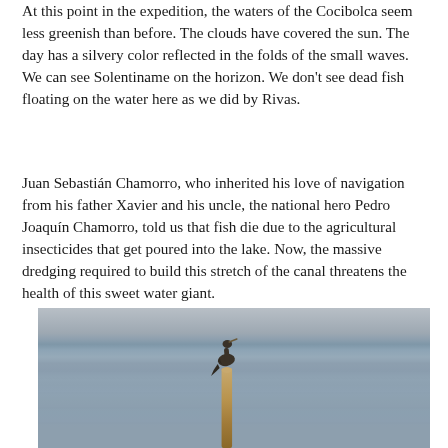At this point in the expedition, the waters of the Cocibolca seem less greenish than before. The clouds have covered the sun. The day has a silvery color reflected in the folds of the small waves. We can see Solentiname on the horizon. We don't see dead fish floating on the water here as we did by Rivas.
Juan Sebastián Chamorro, who inherited his love of navigation from his father Xavier and his uncle, the national hero Pedro Joaquín Chamorro, told us that fish die due to the agricultural insecticides that get poured into the lake. Now, the massive dredging required to build this stretch of the canal threatens the health of this sweet water giant.
[Figure (photo): A bird (cormorant or similar water bird) perched on top of a wooden post or stake rising from calm lake water, photographed from a distance with an overcast silvery sky and water horizon in the background.]